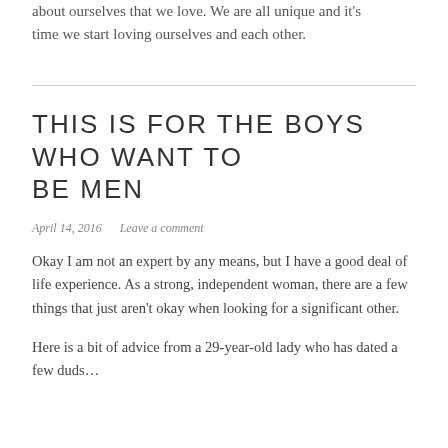about ourselves that we love. We are all unique and it's time we start loving ourselves and each other.
THIS IS FOR THE BOYS WHO WANT TO BE MEN
April 14, 2016   Leave a comment
Okay I am not an expert by any means, but I have a good deal of life experience. As a strong, independent woman, there are a few things that just aren't okay when looking for a significant other.
Here is a bit of advice from a 29-year-old lady who has dated a few duds…